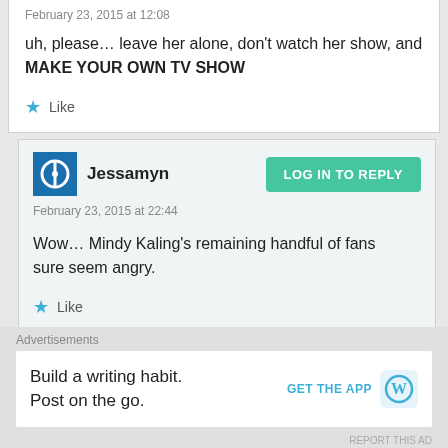February 23, 2015 at 12:08
uh, please… leave her alone, don't watch her show, and MAKE YOUR OWN TV SHOW
Like
Jessamyn
February 23, 2015 at 22:44
Wow… Mindy Kaling's remaining handful of fans sure seem angry.
Like
LOG IN TO REPLY
Advertisements
Build a writing habit. Post on the go.
GET THE APP